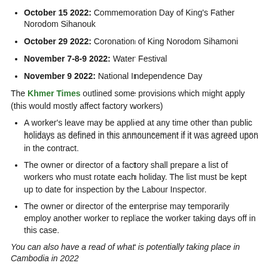October 15 2022: Commemoration Day of King's Father Norodom Sihanouk
October 29 2022: Coronation of King Norodom Sihamoni
November 7-8-9 2022: Water Festival
November 9 2022: National Independence Day
The Khmer Times outlined some provisions which might apply (this would mostly affect factory workers)
A worker's leave may be applied at any time other than public holidays as defined in this announcement if it was agreed upon in the contract.
The owner or director of a factory shall prepare a list of workers who must rotate each holiday. The list must be kept up to date for inspection by the Labour Inspector.
The owner or director of the enterprise may temporarily employ another worker to replace the worker taking days off in this case.
You can also have a read of what is potentially taking place in Cambodia in 2022